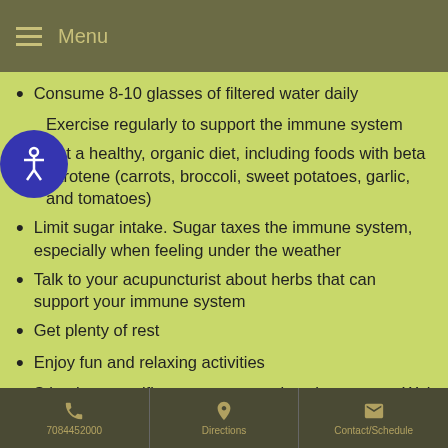Menu
Consume 8-10 glasses of filtered water daily
Exercise regularly to support the immune system
Eat a healthy, organic diet, including foods with beta carotene (carrots, broccoli, sweet potatoes, garlic, and tomatoes)
Limit sugar intake. Sugar taxes the immune system, especially when feeling under the weather
Talk to your acupuncturist about herbs that can support your immune system
Get plenty of rest
Enjoy fun and relaxing activities
Stimulate specific acupuncture points that support Wei Qi – such as Stomach 36
7084452000 | Directions | Contact/Schedule